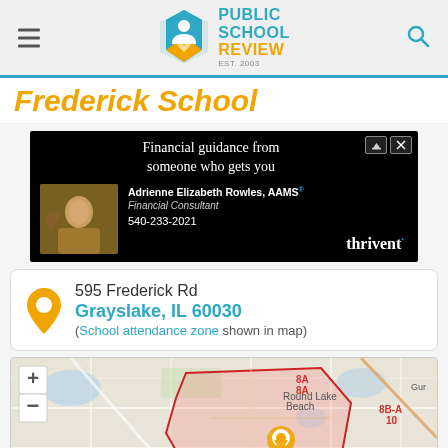Public School Review
Frederick School
[Figure (other): Advertisement for Thrivent financial services featuring Adrienne Elizabeth Rowles, AAMS, Financial Consultant. Phone: 540-233-2021. Headline: Financial guidance from someone who gets you.]
595 Frederick Rd
Grayslake, IL 60030
(School attendance zone shown in map)
[Figure (map): Interactive map showing Frederick School location in Grayslake, IL 60030 with school attendance zone boundary highlighted in red/pink. Nearby areas include Round Lake Beach and Round Lake. Map controls show + and - zoom buttons and fullscreen button. Zone labels 8A, 8B-A, 10, 11A visible on map.]